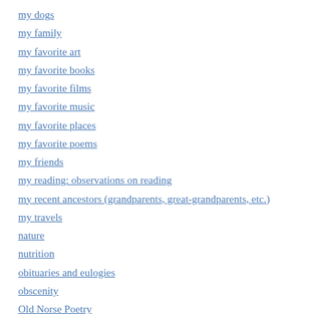my dogs
my family
my favorite art
my favorite books
my favorite films
my favorite music
my favorite places
my favorite poems
my friends
my reading: observations on reading
my recent ancestors (grandparents, great-grandparents, etc.)
my travels
nature
nutrition
obituaries and eulogies
obscenity
Old Norse Poetry
parenting
personal and miscellaneous writings of Roger W. Smith